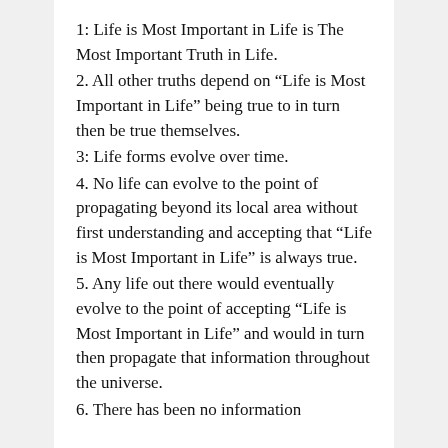1: Life is Most Important in Life is The Most Important Truth in Life.
2. All other truths depend on “Life is Most Important in Life” being true to in turn then be true themselves.
3: Life forms evolve over time.
4. No life can evolve to the point of propagating beyond its local area without first understanding and accepting that “Life is Most Important in Life” is always true.
5. Any life out there would eventually evolve to the point of accepting “Life is Most Important in Life” and would in turn then propagate that information throughout the universe.
6. There has been no information